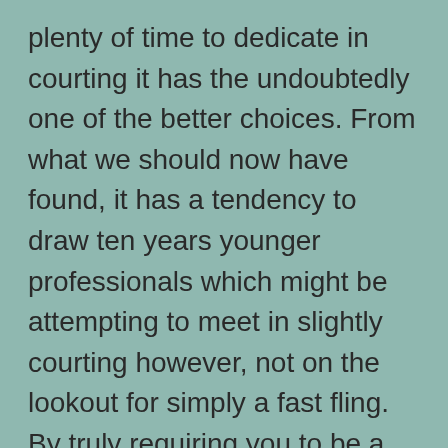plenty of time to dedicate in courting it has the undoubtedly one of the better choices. From what we should now have found, it has a tendency to draw ten years younger professionals which might be attempting to meet in slightly courting however, not on the lookout for simply a fast fling. By truly requiring you to be a little more reflective on what you need the suits additionally often be better and less floor level than a great app just like Tinder.
Once enough time comes for a phone call, be mindful and set up a free Google Voice account, which is in a position to generate a